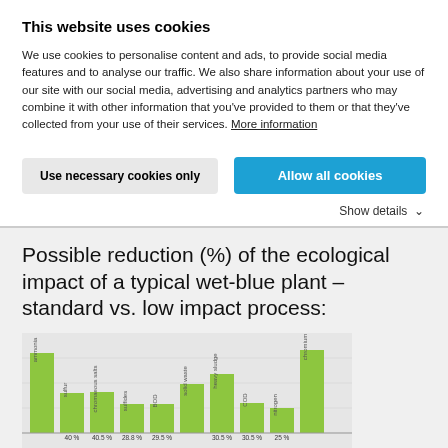This website uses cookies
We use cookies to personalise content and ads, to provide social media features and to analyse our traffic. We also share information about your use of our site with our social media, advertising and analytics partners who may combine it with other information that you've provided to them or that they've collected from your use of their services. More information
Use necessary cookies only | Allow all cookies
Show details ∨
Possible reduction (%) of the ecological impact of a typical wet-blue plant – standard vs. low impact process:
[Figure (bar-chart): Horizontal bar chart showing possible percentage reductions in ecological impact for various categories (ammonia, sulfur, chromaeous salts, sulfides, BOD, solid waste, heavy sludge, COD, nitrogen, chromium) comparing standard vs low impact process in a wet-blue plant. Bars are green and show values approximately ranging from 20% to 80%+.]